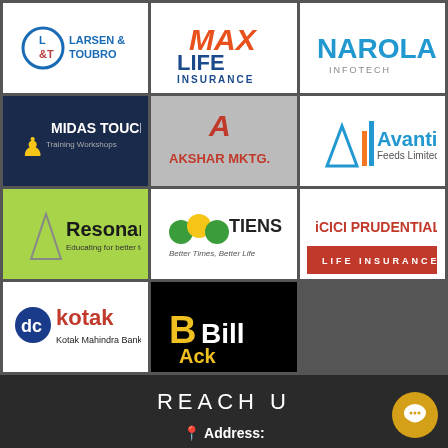[Figure (logo): Larsen & Toubro logo]
[Figure (logo): Max Life Insurance logo]
[Figure (logo): Narola Infotech logo]
[Figure (logo): Midas Touch Training Workshops logo]
[Figure (logo): Akshar Mktg. logo]
[Figure (logo): Avanti Feeds Limited logo]
[Figure (logo): Resonance - Educating for better tomorrow logo]
[Figure (logo): TIENS - Better Times, Better Life logo]
[Figure (logo): ICICI Prudential Life Insurance logo]
[Figure (logo): Kotak Mahindra Bank logo]
[Figure (logo): BillBack logo]
REACH U
📍 Address:
B1,Exult Shoppers,Near Sidhhivinayak Temple,Beside